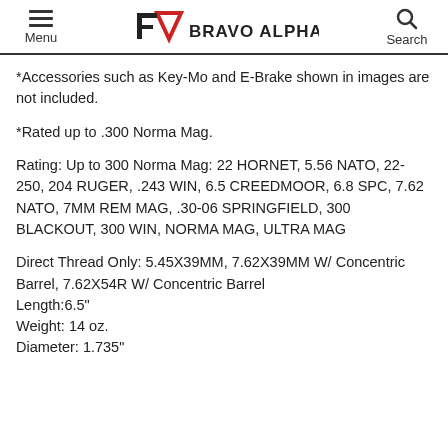Menu | BRAVO ALPHA FIREARMS | Search
*Accessories such as Key-Mo and E-Brake shown in images are not included.
*Rated up to .300 Norma Mag.
Rating: Up to 300 Norma Mag: 22 HORNET, 5.56 NATO, 22-250, 204 RUGER, .243 WIN, 6.5 CREEDMOOR, 6.8 SPC, 7.62 NATO, 7MM REM MAG, .30-06 SPRINGFIELD, 300 BLACKOUT, 300 WIN, NORMA MAG, ULTRA MAG
Direct Thread Only: 5.45X39MM, 7.62X39MM W/ Concentric Barrel, 7.62X54R W/ Concentric Barrel
Length:6.5"
Weight: 14 oz.
Diameter: 1.735"